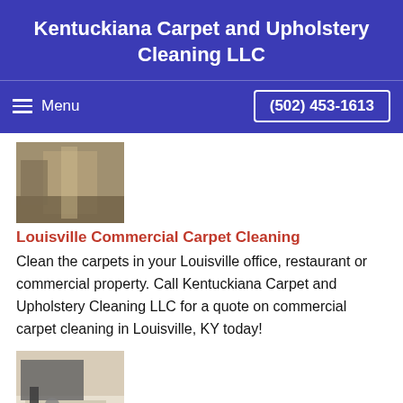Kentuckiana Carpet and Upholstery Cleaning LLC
Menu   (502) 453-1613
[Figure (photo): Photo of commercial carpet cleaning in progress, person with cleaning equipment on carpet]
Louisville Commercial Carpet Cleaning
Clean the carpets in your Louisville office, restaurant or commercial property. Call Kentuckiana Carpet and Upholstery Cleaning LLC for a quote on commercial carpet cleaning in Louisville, KY today!
[Figure (photo): Photo of hot water extraction carpet cleaning machine nozzle on carpet]
Louisville Hot Water Extraction
Deep cleaning your carpet via hot water extraction in Louisville is recommended by most carpet manufacturers.